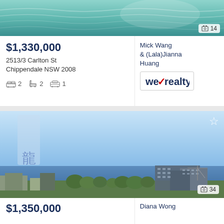[Figure (photo): Aerial/pool water photo with image count badge showing 14]
$1,330,000
2513/3 Carlton St
Chippendale NSW 2008
2 bed  2 bath  1 car
Mick Wang
& (Lala)Jianna Huang
[Figure (logo): WeRealty logo with red checkmark]
[Figure (photo): Cityscape photo with blue sky and buildings, image count badge showing 34, star/favourite icon]
$1,350,000
Diana Wong